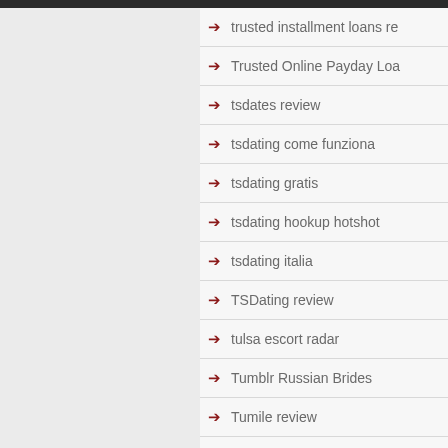trusted installment loans re
Trusted Online Payday Loa
tsdates review
tsdating come funziona
tsdating gratis
tsdating hookup hotshot
tsdating italia
TSDating review
tulsa escort radar
Tumblr Russian Brides
Tumile review
turki womens
Turkish Bride